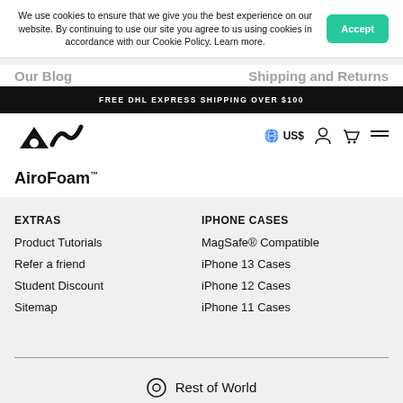We use cookies to ensure that we give you the best experience on our website. By continuing to use our site you agree to us using cookies in accordance with our Cookie Policy. Learn more.
Our Blog   Shipping and Returns
FREE DHL EXPRESS SHIPPING OVER $100
[Figure (logo): Mous brand logo - stylized triangle and swoosh shapes]
🌐 US$
AiroFoam™
EXTRAS
IPHONE CASES
Product Tutorials
MagSafe® Compatible
Refer a friend
iPhone 13 Cases
Student Discount
iPhone 12 Cases
Sitemap
iPhone 11 Cases
Rest of World